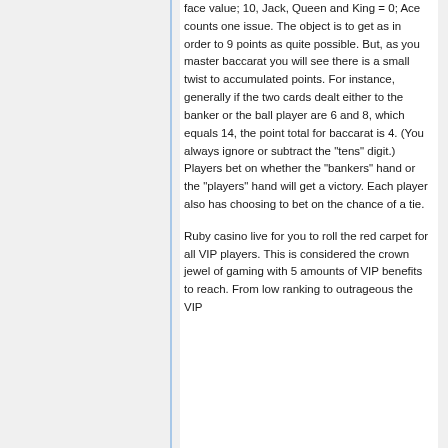face value; 10, Jack, Queen and King = 0; Ace counts one issue. The object is to get as in order to 9 points as quite possible. But, as you master baccarat you will see there is a small twist to accumulated points. For instance, generally if the two cards dealt either to the banker or the ball player are 6 and 8, which equals 14, the point total for baccarat is 4. (You always ignore or subtract the "tens" digit.) Players bet on whether the "bankers" hand or the "players" hand will get a victory. Each player also has choosing to bet on the chance of a tie.
Ruby casino live for you to roll the red carpet for all VIP players. This is considered the crown jewel of gaming with 5 amounts of VIP benefits to reach. From low ranking to outrageous the VIP